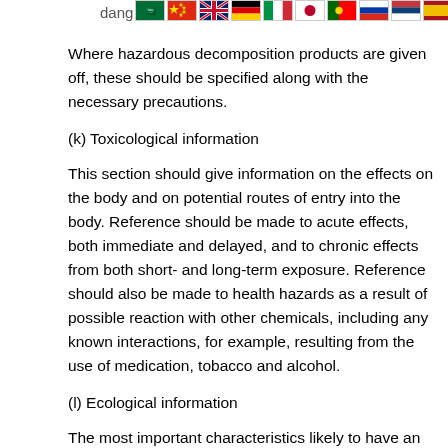dang [flags]
Where hazardous decomposition products are given off, these should be specified along with the necessary precautions.
(k) Toxicological information
This section should give information on the effects on the body and on potential routes of entry into the body. Reference should be made to acute effects, both immediate and delayed, and to chronic effects from both short- and long-term exposure. Reference should also be made to health hazards as a result of possible reaction with other chemicals, including any known interactions, for example, resulting from the use of medication, tobacco and alcohol.
(l) Ecological information
The most important characteristics likely to have an effect on the environment should be described. The detailed information required will depend on the national laws and practice applying